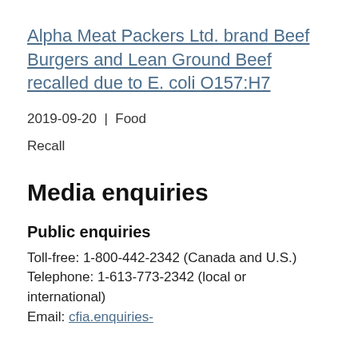Alpha Meat Packers Ltd. brand Beef Burgers and Lean Ground Beef recalled due to E. coli O157:H7
2019-09-20 | Food
Recall
Media enquiries
Public enquiries
Toll-free: 1-800-442-2342 (Canada and U.S.)
Telephone: 1-613-773-2342 (local or international)
Email: cfia.enquiries-